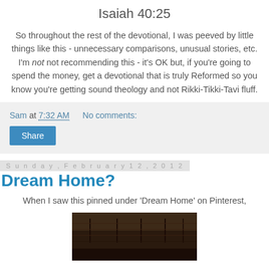Isaiah 40:25
So throughout the rest of the devotional, I was peeved by little things like this - unnecessary comparisons, unusual stories, etc. I'm not not recommending this - it's OK but, if you're going to spend the money, get a devotional that is truly Reformed so you know you're getting sound theology and not Rikki-Tikki-Tavi fluff.
Sam at 7:32 AM    No comments:
Share
Sunday, February 12, 2012
Dream Home?
When I saw this pinned under 'Dream Home' on Pinterest,
[Figure (photo): Dark interior photo of what appears to be a ceiling or roof structure, shown partially at the bottom of the page]